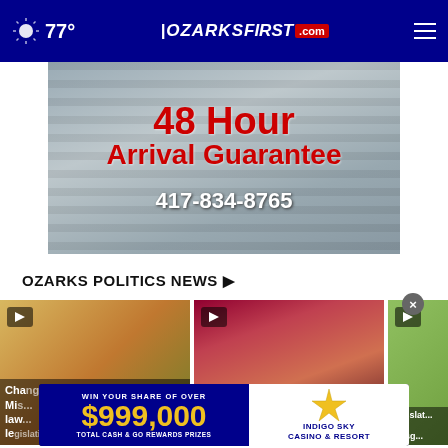77° OZARKSFIRST.com
[Figure (photo): Roofing advertisement showing hands with a drill on roof shingles. Text: 48 Hour Arrival Guarantee, 417-834-8765]
OZARKS POLITICS NEWS ▶
[Figure (screenshot): Video thumbnail 1: Close-up of hands, text 'Changes of Misso... law... legislation']
[Figure (screenshot): Video thumbnail 2: Wine bottles/glasses, text 'Missouri... legislation...']
[Figure (screenshot): Video thumbnail 3: Green background, text 'Legislat... imit... ränsg...']
[Figure (advertisement): Bottom overlay ad: WIN YOUR SHARE OF OVER $999,000 TOTAL CASH & GO REWARDS PRIZES / INDIGO SKY CASINO & RESORT]
×